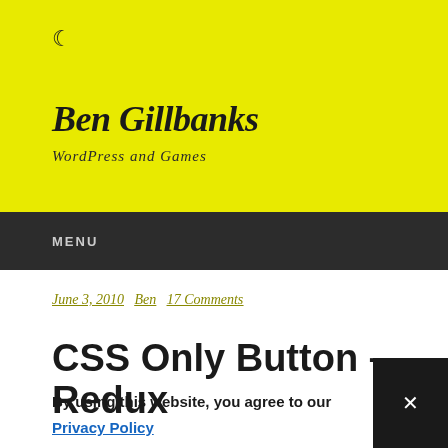[Figure (illustration): Moon/crescent icon in dark color on yellow background]
Ben Gillbanks
WordPress and Games
MENU
June 3, 2010  Ben  17 Comments
CSS Only Button – Redux
By using this website, you agree to our Privacy Policy